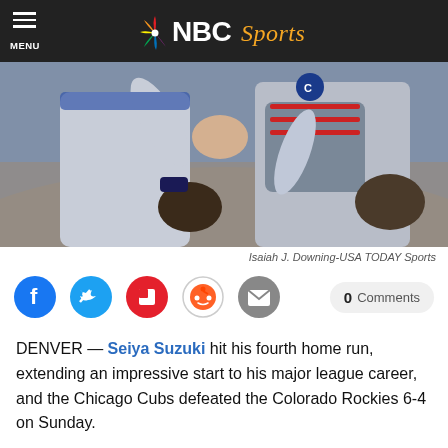NBC Sports
[Figure (photo): Two Chicago Cubs players in gray uniforms shaking/clasping hands in celebration on a baseball field, with a crowd in the background. One player is a catcher with chest protector and gear.]
Isaiah J. Downing-USA TODAY Sports
DENVER — Seiya Suzuki hit his fourth home run, extending an impressive start to his major league career, and the Chicago Cubs defeated the Colorado Rockies 6-4 on Sunday.
Willson Contreras also went deep for the Cubs. Nick